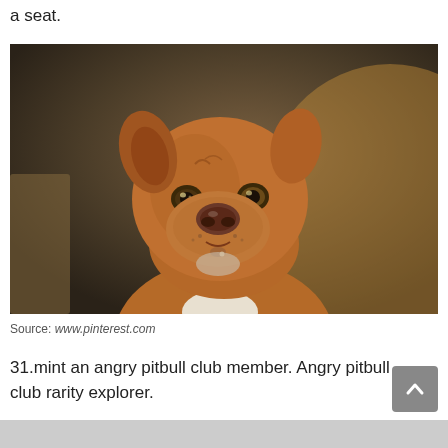a seat.
[Figure (photo): Close-up portrait of a brown/tan pit bull dog looking directly at the camera with a serious expression, against a dark blurred background.]
Source: www.pinterest.com
31.mint an angry pitbull club member. Angry pitbull club rarity explorer.